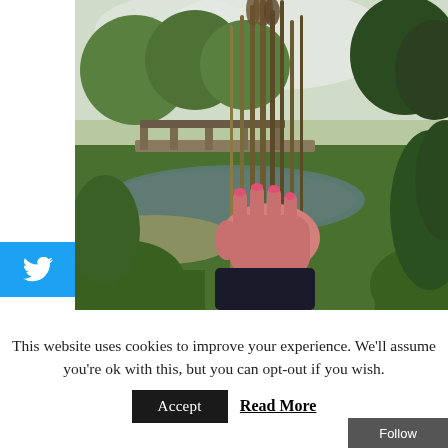[Figure (photo): A person holding a bundle of tall plant stalks/reeds with red-painted fingernails. Background shows a green park scene with a wooden bridge over a stream, trees, and grass on a sunny day.]
This website uses cookies to improve your experience. We'll assume you're ok with this, but you can opt-out if you wish.